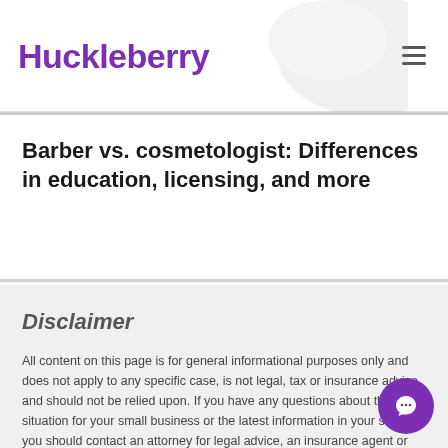Huckleberry
Barber vs. cosmetologist: Differences in education, licensing, and more
Disclaimer
All content on this page is for general informational purposes only and does not apply to any specific case, is not legal, tax or insurance advice and should not be relied upon. If you have any questions about the situation for your small business or the latest information in your state, you should contact an attorney for legal advice, an insurance agent or broker, and/or your state's labor industry agency, board, commission or department. Please note that the information provided on this page may change at any